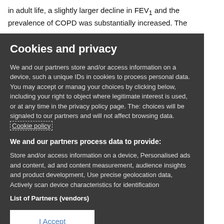in adult life, a slightly larger decline in FEV₁ and the prevalence of COPD was substantially increased. The
Cookies and privacy
We and our partners store and/or access information on a device, such as unique IDs in cookies to process personal data. You may accept or manage your choices by clicking below, including your right to object where legitimate interest is used, or at any time in the privacy policy page. These choices will be signaled to our partners and will not affect browsing data. Cookie policy
We and our partners process data to provide:
Store and/or access information on a device, Personalised ads and content, ad and content measurement, audience insights and product development, Use precise geolocation data, Actively scan device characteristics for identification
List of Partners (vendors)
I Accept